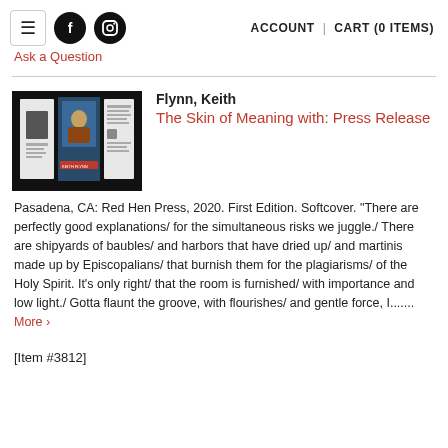ACCOUNT | CART (0 ITEMS)
Ask a Question
[Figure (photo): Thumbnail image of book 'The Skin of Meaning' by Keith Flynn showing cover and interior pages on black background]
Flynn, Keith
The Skin of Meaning with: Press Release
Pasadena, CA: Red Hen Press, 2020. First Edition. Softcover. "There are perfectly good explanations/ for the simultaneous risks we juggle./ There are shipyards of baubles/ and harbors that have dried up/ and martinis made up by Episcopalians/ that burnish them for the plagiarisms/ of the Holy Spirit. It's only right/ that the room is furnished/ with importance and low light./ Gotta flaunt the groove, with flourishes/ and gentle force, I....... More >
[Item #3812]